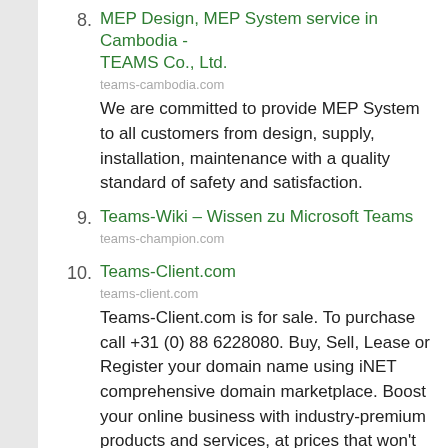8. MEP Design, MEP System service in Cambodia - TEAMS Co., Ltd.
teams-cambodia.com
We are committed to provide MEP System to all customers from design, supply, installation, maintenance with a quality standard of safety and satisfaction.
9. Teams-Wiki – Wissen zu Microsoft Teams
teams-champion.com
10. Teams-Client.com
teams-client.com
Teams-Client.com is for sale. To purchase call +31 (0) 88 6228080. Buy, Sell, Lease or Register your domain name using iNET comprehensive domain marketplace. Boost your online business with industry-premium products and services, at prices that won't